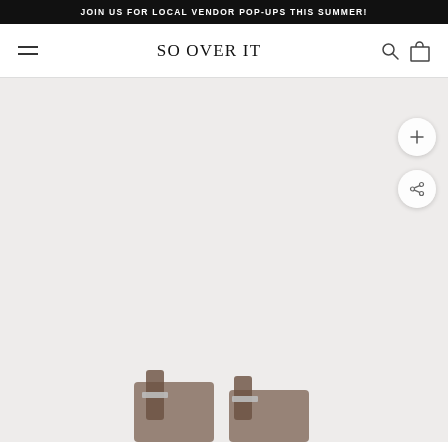JOIN US FOR LOCAL VENDOR POP-UPS THIS SUMMER!
SO OVER IT
[Figure (screenshot): E-commerce product page screenshot showing 'So Over It' brand website with announcement bar, navigation with hamburger menu and cart icon, and a product image area with zoom (+) and share buttons on the right side. The bottom of the page shows the top portion of a product (appears to be shoes/boots) against a light gray background.]